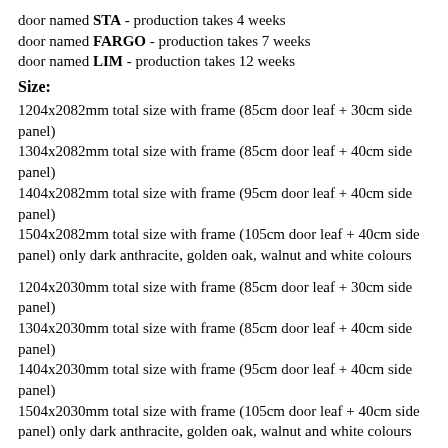door named STA - production takes 4 weeks
door named FARGO - production takes 7 weeks
door named LIM - production takes 12 weeks
Size:
1204x2082mm total size with frame (85cm door leaf + 30cm side panel)
1304x2082mm total size with frame (85cm door leaf + 40cm side panel)
1404x2082mm total size with frame (95cm door leaf + 40cm side panel)
1504x2082mm total size with frame (105cm door leaf + 40cm side panel) only dark anthracite, golden oak, walnut and white colours
1204x2030mm total size with frame (85cm door leaf + 30cm side panel)
1304x2030mm total size with frame (85cm door leaf + 40cm side panel)
1404x2030mm total size with frame (95cm door leaf + 40cm side panel)
1504x2030mm total size with frame (105cm door leaf + 40cm side panel) only dark anthracite, golden oak, walnut and white colours
available custom height from 2000mm to 2082mm
available custom width from 1204mm to 1504mm